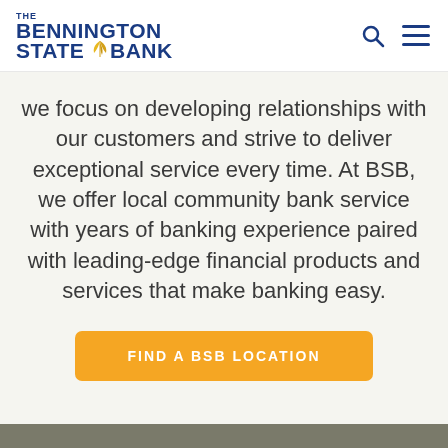[Figure (logo): The Bennington State Bank logo with blue text and golden wheat/leaf emblem]
we focus on developing relationships with our customers and strive to deliver exceptional service every time. At BSB, we offer local community bank service with years of banking experience paired with leading-edge financial products and services that make banking easy.
FIND A BSB LOCATION